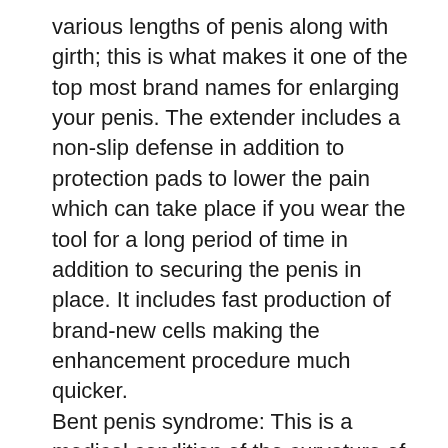various lengths of penis along with girth; this is what makes it one of the top most brand names for enlarging your penis. The extender includes a non-slip defense in addition to protection pads to lower the pain which can take place if you wear the tool for a long period of time in addition to securing the penis in place. It includes fast production of brand-new cells making the enhancement procedure much quicker.
Bent penis syndrome: This is a medical condition of the curvature of the penis which can trigger several degrees of discomfort influencing an individual's self-esteem on a whole. The Bent Penis syndrome or likewise called Peyronies can absolutely be improved by utilizing SizeGenetics. The device will